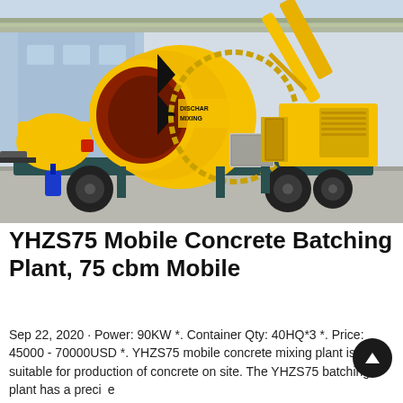[Figure (photo): Photograph of a yellow YHZS75 Mobile Concrete Batching Plant / concrete mixer truck on a wheeled trailer, with a large rotating drum labeled 'DISCHAR MIXING', a loading conveyor arm raised at the rear, and industrial buildings in the background. The machine is predominantly bright yellow with dark teal/grey trailer frame.]
YHZS75 Mobile Concrete Batching Plant, 75 cbm Mobile
Sep 22, 2020 · Power: 90KW *. Container Qty: 40HQ*3 *. Price: 45000 - 70000USD *. YHZS75 mobile concrete mixing plant is suitable for production of concrete on site. The YHZS75 batching plant has a precise weighing system to ensure accurate delivery ...